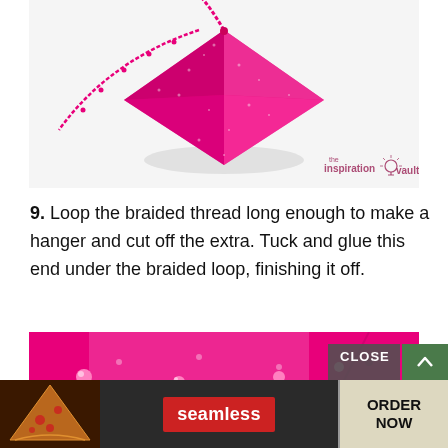[Figure (photo): Close-up photo of a pink glittery geometric ornament (diamond/pyramid shape) with hot pink braided thread looped through it, on a white background. Watermark 'the inspiration vault' with lightbulb icon in bottom right.]
9. Loop the braided thread long enough to make a hanger and cut off the extra. Tuck and glue this end under the braided loop, finishing it off.
[Figure (photo): Close-up photo of a pink glittery ornament surface with pink rhinestone/gem decorations on a hot pink background.]
[Figure (other): Advertisement banner: Seamless pizza delivery ad with 'seamless' red label and 'ORDER NOW' button, with a CLOSE button overlay.]